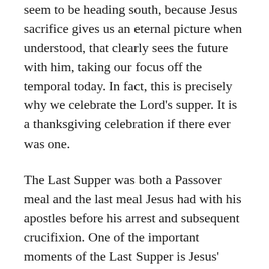seem to be heading south, because Jesus sacrifice gives us an eternal picture when understood, that clearly sees the future with him, taking our focus off the temporal today. In fact, this is precisely why we celebrate the Lord's supper. It is a thanksgiving celebration if there ever was one.
The Last Supper was both a Passover meal and the last meal Jesus had with his apostles before his arrest and subsequent crucifixion. One of the important moments of the Last Supper is Jesus' command to remember what he was about to do on behalf of all mankind, which was to shed his blood on the cross thereby paying the debt of our sins.
Keep in mind that this tied in with the Passover feast which was an especially holy event for the Jewish people in that it remembered the time when God spared them from the plague of physical death in Egypt.